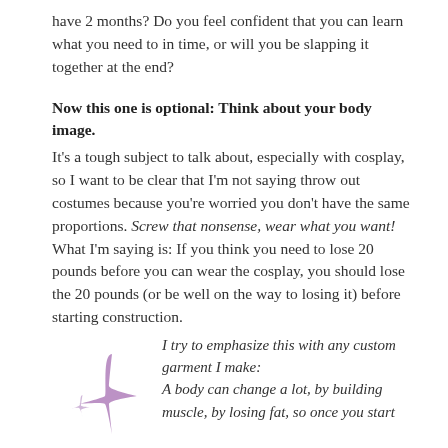have 2 months? Do you feel confident that you can learn what you need to in time, or will you be slapping it together at the end?
Now this one is optional: Think about your body image.
It's a tough subject to talk about, especially with cosplay, so I want to be clear that I'm not saying throw out costumes because you're worried you don't have the same proportions. Screw that nonsense, wear what you want! What I'm saying is: If you think you need to lose 20 pounds before you can wear the cosplay, you should lose the 20 pounds (or be well on the way to losing it) before starting construction.
[Figure (illustration): Two purple/lavender sparkle star shapes, one larger four-pointed star and one smaller star, decorative illustration]
I try to emphasize this with any custom garment I make: A body can change a lot, by building muscle, by losing fat, so once you start